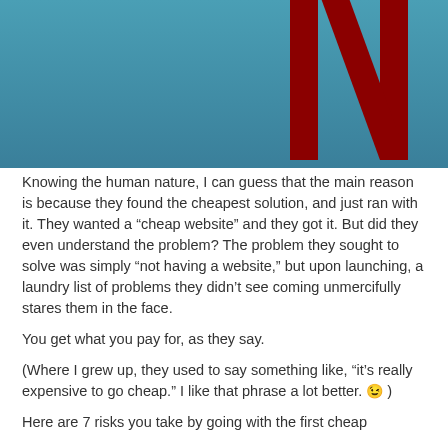[Figure (illustration): Top portion of an image showing a teal/blue gradient background with a dark red letter 'n' shape (resembling the Netflix logo) in the upper right area, partially cropped.]
Knowing the human nature, I can guess that the main reason is because they found the cheapest solution, and just ran with it. They wanted a “cheap website” and they got it. But did they even understand the problem? The problem they sought to solve was simply “not having a website,” but upon launching, a laundry list of problems they didn’t see coming unmercifully stares them in the face.
You get what you pay for, as they say.
(Where I grew up, they used to say something like, “it’s really expensive to go cheap.” I like that phrase a lot better. 😉 )
Here are 7 risks you take by going with the first cheap